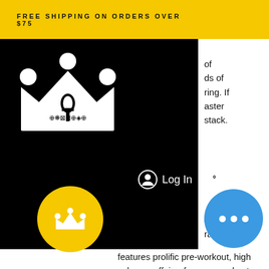FREE SHIPPING ON ORDERS OVER $75
[Figure (logo): White crown logo with ankh symbol and decorative text on black background]
Log In
of
ds of
ring. If
aster
stack.
o to
ra. It features prolific pre-workout, high volume caffeine-free pre-workout,. Redcon1 guru stack - hypertrophy coach stack. This is a most excellent stack. Energy off the chart. The gym bag and straps are top of the line. A good pre-workout supplement stack is essential. You can build plenty of muscle simply by following a good hypertrophy workout program, eating enough protein and carbs, eating enough calories,. Gaba has long been popular as an 'anti-anxiety' supplement. May be a useful addition to
[Figure (logo): Yellow circle with white crown icon - floating action button]
[Figure (other): Blue circle with three white dots - chat/menu button]